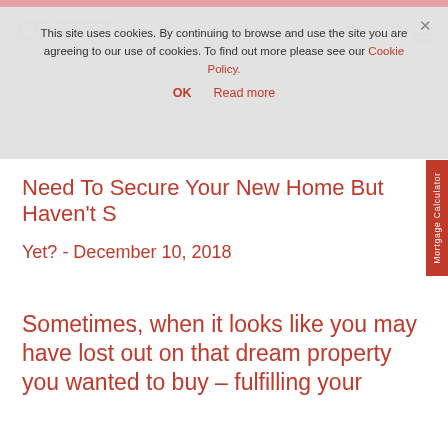ONE77 MORTGAGES — header with logo and phone number
This site uses cookies. By continuing to browse and use the site you are agreeing to our use of cookies. To find out more please see our Cookie Policy.
OK   Read more
Need To Secure Your New Home But Haven't S Yet? - December 10, 2018
Sometimes, when it looks like you may have lost out on that dream property you wanted to buy – fulfilling your